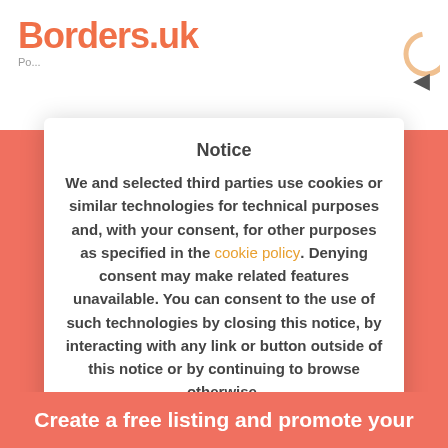[Figure (screenshot): Borders.uk website logo with orange/salmon colored stylized letter B and partial text, with a small speaker icon and circular loading indicator on the right]
Notice
We and selected third parties use cookies or similar technologies for technical purposes and, with your consent, for other purposes as specified in the cookie policy. Denying consent may make related features unavailable. You can consent to the use of such technologies by closing this notice, by interacting with any link or button outside of this notice or by continuing to browse otherwise.
Got it!
Create a free listing and promote your